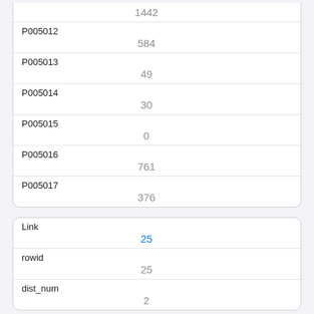| Field | Value |
| --- | --- |
| (partial top) | 1442 |
| P005012 | 584 |
| P005013 | 49 |
| P005014 | 30 |
| P005015 | 0 |
| P005016 | 761 |
| P005017 | 376 |
| Field | Value |
| --- | --- |
| Link | 25 |
| rowid | 25 |
| dist_num | 2 |